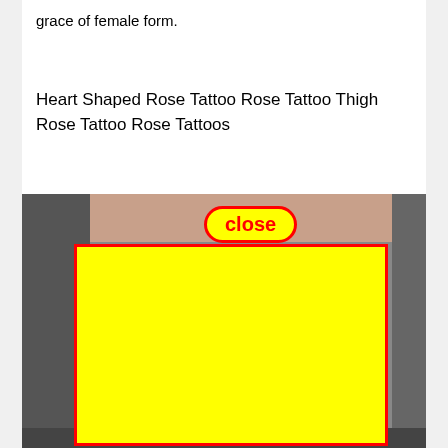grace of female form.
Heart Shaped Rose Tattoo Rose Tattoo Thigh Rose Tattoo Rose Tattoos
[Figure (photo): Photo of a tattoo on skin/thigh area with a yellow rectangle overlay covering the main content and a red-bordered 'close' button in yellow at the top center of the image.]